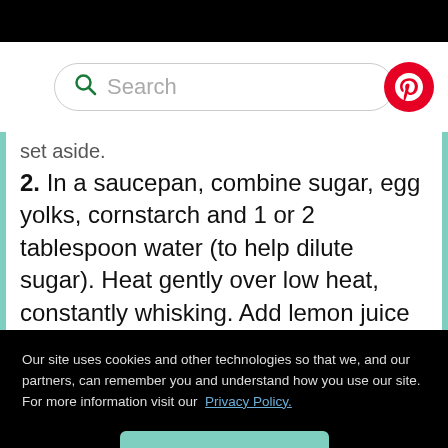[Figure (screenshot): Search bar with green magnifying glass icon and placeholder text 'Search', with Pinterest red circular logo button on the right]
set aside.
2. In a saucepan, combine sugar, egg yolks, cornstarch and 1 or 2 tablespoon water (to help dilute sugar). Heat gently over low heat, constantly whisking. Add lemon juice and lemon
Our site uses cookies and other technologies so that we, and our partners, can remember you and understand how you use our site. For more information visit our Privacy Policy.
OK